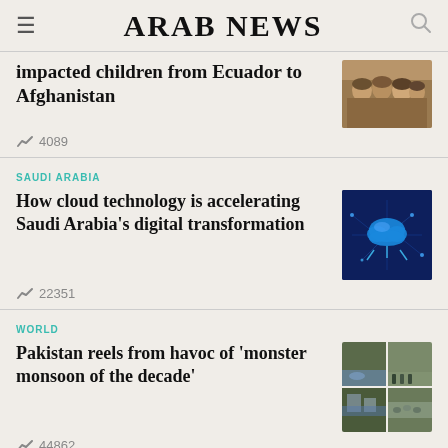ARAB NEWS
impacted children from Ecuador to Afghanistan
4089
SAUDI ARABIA
How cloud technology is accelerating Saudi Arabia's digital transformation
22351
WORLD
Pakistan reels from havoc of 'monster monsoon of the decade'
44862